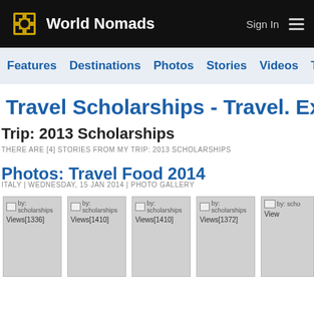World Nomads | Sign In
Features   Destinations   Photos   Stories   Videos   Ta...
Travel Scholarships - Travel. Ex...
Trip: 2013 Scholarships
THERE ARE [4] STORIES FROM MY TRIP: 2013 SCHOLARSHIPS
Photos: Travel Food 2014
ITALY | WEDNESDAY, 15 JAN 2014 | PHOTO GALLERY
[Figure (photo): Thumbnail 1: by scholarships Views[1336]]
[Figure (photo): Thumbnail 2: by scholarships Views[1410]]
[Figure (photo): Thumbnail 3: by scholarships Views[1410]]
[Figure (photo): Thumbnail 4: by scholarships Views[1372]]
[Figure (photo): Thumbnail 5: by scholarships Views[partially visible]]